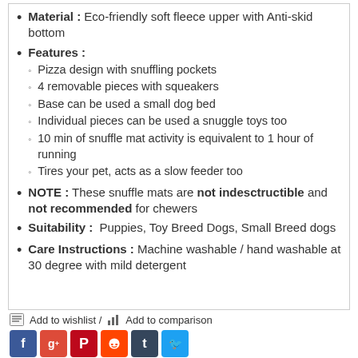Material : Eco-friendly soft fleece upper with Anti-skid bottom
Features :
Pizza design with snuffling pockets
4 removable pieces with squeakers
Base can be used a small dog bed
Individual pieces can be used a snuggle toys too
10 min of snuffle mat activity is equivalent to 1 hour of running
Tires your pet, acts as a slow feeder too
NOTE : These snuffle mats are not indesctructible and not recommended for chewers
Suitability : Puppies, Toy Breed Dogs, Small Breed dogs
Care Instructions : Machine washable / hand washable at 30 degree with mild detergent
Add to wishlist / Add to comparison